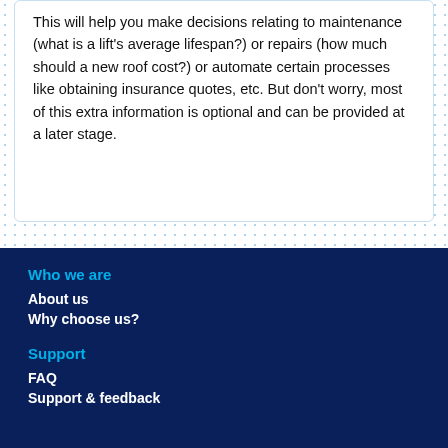This will help you make decisions relating to maintenance (what is a lift's average lifespan?) or repairs (how much should a new roof cost?) or automate certain processes like obtaining insurance quotes, etc. But don't worry, most of this extra information is optional and can be provided at a later stage.
Who we are
About us
Why choose us?
Support
FAQ
Support & feedback